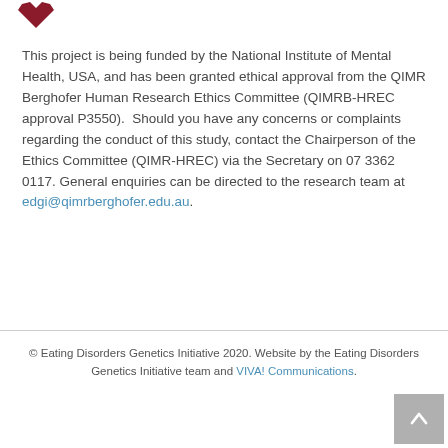[Figure (logo): Red heart/logo shape at top left]
This project is being funded by the National Institute of Mental Health, USA, and has been granted ethical approval from the QIMR Berghofer Human Research Ethics Committee (QIMRB-HREC approval P3550).  Should you have any concerns or complaints regarding the conduct of this study, contact the Chairperson of the Ethics Committee (QIMR-HREC) via the Secretary on 07 3362 0117. General enquiries can be directed to the research team at edgi@qimrberghofer.edu.au.
© Eating Disorders Genetics Initiative 2020. Website by the Eating Disorders Genetics Initiative team and VIVA! Communications.